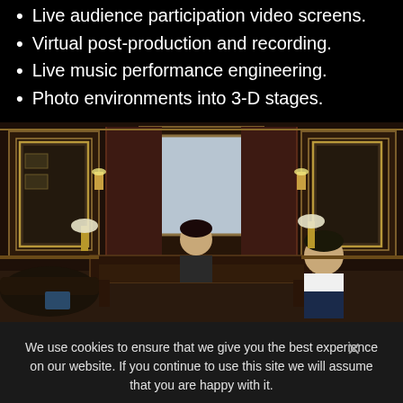Live audience participation video screens.
Virtual post-production and recording.
Live music performance engineering.
Photo environments into 3-D stages.
[Figure (photo): Two people seated in a dark, luxurious wood-paneled office with large curtained windows and ornate mirrors. One person sits behind a large desk in the center background, another person sits to the right foreground.]
We use cookies to ensure that we give you the best experience on our website. If you continue to use this site we will assume that you are happy with it.
Ok